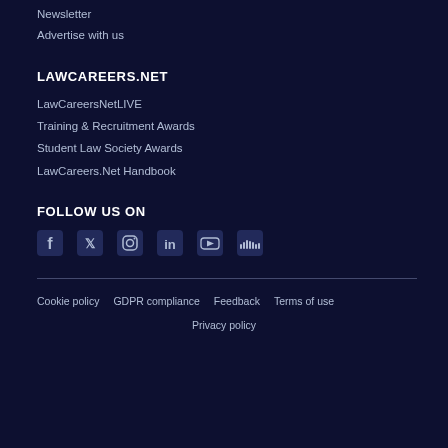Newsletter
Advertise with us
LAWCAREERS.NET
LawCareersNetLIVE
Training & Recruitment Awards
Student Law Society Awards
LawCareers.Net Handbook
FOLLOW US ON
[Figure (infographic): Social media icons: Facebook, Twitter, Instagram, LinkedIn, YouTube, SoundCloud]
Cookie policy   GDPR compliance   Feedback   Terms of use
Privacy policy